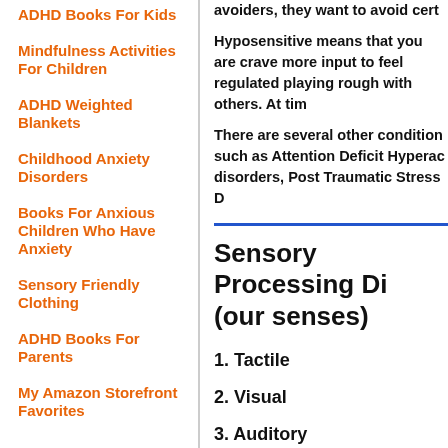ADHD Books For Kids
Mindfulness Activities For Children
ADHD Weighted Blankets
Childhood Anxiety Disorders
Books For Anxious Children Who Have Anxiety
Sensory Friendly Clothing
ADHD Books For Parents
My Amazon Storefront Favorites
avoiders, they want to avoid certa
Hyposensitive means that you are crave more input to feel regulated playing rough with others. At tim
There are several other condition such as Attention Deficit Hyperac disorders, Post Traumatic Stress D
Sensory Processing Di (our senses)
1. Tactile
2. Visual
3. Auditory
4. Gustation